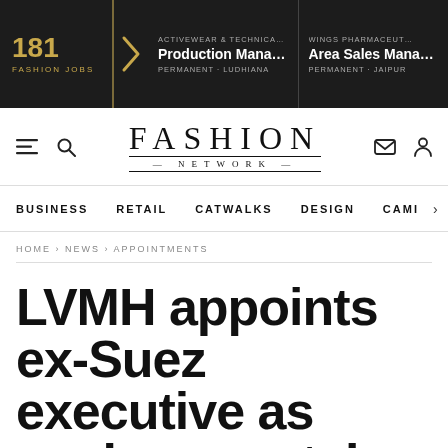[Figure (screenshot): Fashion Jobs banner showing 181 fashion jobs, with two job listings: Production Manager (A...) - Permanent - Ludhiana by Activewear & Technical..., and Area Sales Manag... - Permanent - Jaipur by Wings Pharmaceut...]
[Figure (logo): Fashion Network logo with FASHION in large serif letters and NETWORK below in smaller spaced letters with horizontal lines]
BUSINESS   RETAIL   CATWALKS   DESIGN   CAMI >
HOME › NEWS › APPOINTMENTS
LVMH appoints ex-Suez executive as environmental